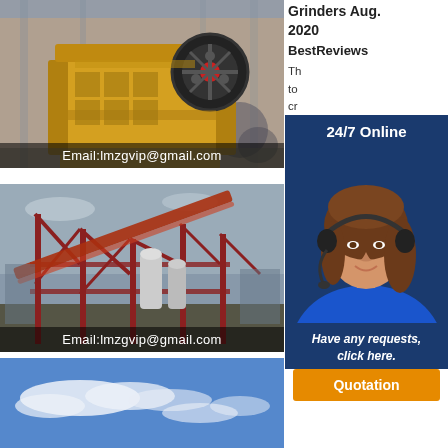[Figure (photo): Industrial jaw crusher machine in a factory with yellow painted body and black flywheel, with 'Email:lmzgvip@gmail.com' overlay]
[Figure (photo): Large industrial mining/processing plant with red steel structure and conveyor belt, with 'Email:lmzgvip@gmail.com' overlay]
[Figure (photo): Partial view of a blue sky with white clouds]
Grinders Aug. 2020 BestReviews The... to... cr... di... gl... us... gl... eB... Sa... st... gr... mail alerts and updates on your eBay Feed. + Buy Stained Glass Grinders & Gemini Ring Saws Today
[Figure (infographic): Customer service popup with '24/7 Online' header, photo of woman with headset, 'Have any requests, click here.' text, and 'Quotation' button]